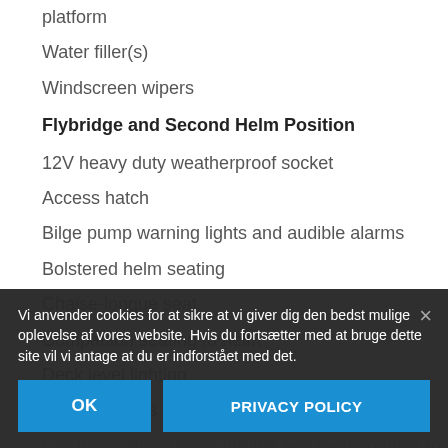platform
Water filler(s)
Windscreen wipers
Flybridge and Second Helm Position
12V heavy duty weatherproof socket
Access hatch
Bilge pump warning lights and audible alarms
Bolstered helm seating
Chaise-longue seat
Companion seating to helm
Deck level lighting
Drinks holders
Electronic single lever throttle and gear controls for
GRP flybridge table with hi/lo facility
Garmin … management system … u…
Helm position indicator
Vi anvender cookies for at sikre at vi giver dig den bedst mulige oplevelse af vores website. Hvis du fortsætter med at bruge dette site vil vi antage at du er indforstået med det.